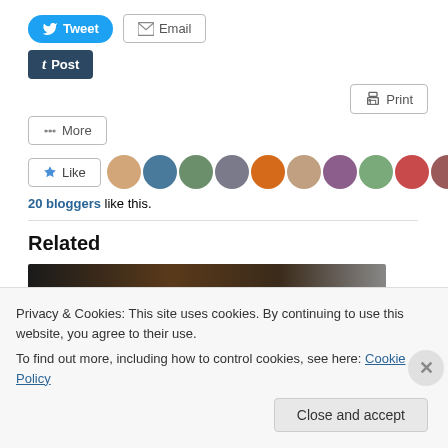[Figure (screenshot): Social sharing buttons: Tweet (blue), Email (grey outline)]
[Figure (screenshot): Post button (dark blue/navy)]
[Figure (screenshot): Print button (grey outline, right-aligned)]
[Figure (screenshot): More button (grey outline)]
[Figure (screenshot): Like button with star icon, followed by 11 blogger avatar thumbnails]
20 bloggers like this.
Related
[Figure (photo): Dark brown/earth-toned image strip partially visible]
Privacy & Cookies: This site uses cookies. By continuing to use this website, you agree to their use.
To find out more, including how to control cookies, see here: Cookie Policy
Close and accept